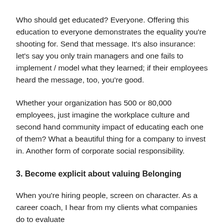Who should get educated? Everyone. Offering this education to everyone demonstrates the equality you're shooting for. Send that message. It's also insurance: let's say you only train managers and one fails to implement / model what they learned; if their employees heard the message, too, you're good.
Whether your organization has 500 or 80,000 employees, just imagine the workplace culture and second hand community impact of educating each one of them? What a beautiful thing for a company to invest in. Another form of corporate social responsibility.
3. Become explicit about valuing Belonging
When you're hiring people, screen on character. As a career coach, I hear from my clients what companies do to evaluate